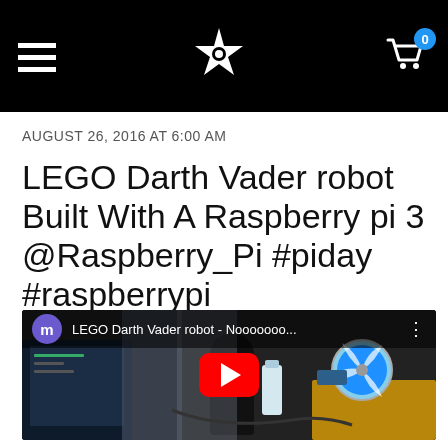Navigation header with hamburger menu, star logo, and cart icon with badge 0
AUGUST 26, 2016 AT 6:00 AM
LEGO Darth Vader robot Built With A Raspberry pi 3 @Raspberry_Pi #piday #raspberrypi
[Figure (screenshot): YouTube video embed showing 'LEGO Darth Vader robot - Nooooooo...' with channel avatar 'm', video scene with play button, showing a desk setup with a laptop, a robot figure, and a spinning fan toy]